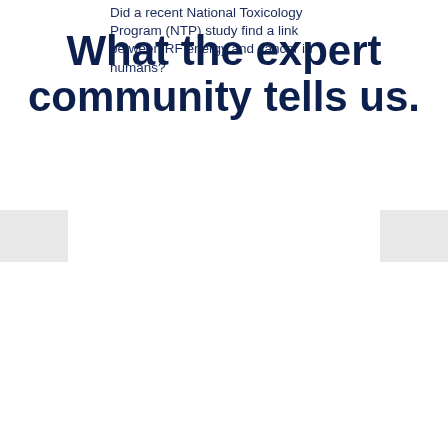Did a recent National Toxicology Program (NTP) study find a link between RF energy and cancer in humans?
What the expert community tells us.